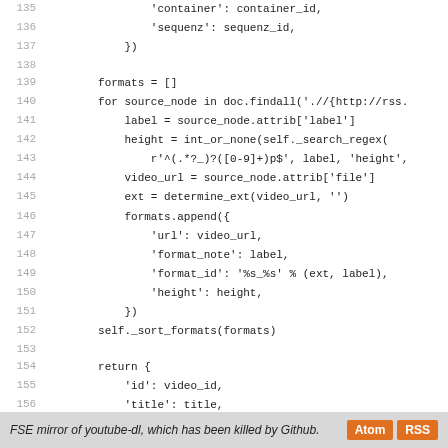Code listing lines 135-163 showing Python source code for a youtube-dl mirror, including format extraction and return dictionary construction.
FSE mirror of youtube-dl, which has been killed by Github. Atom RSS